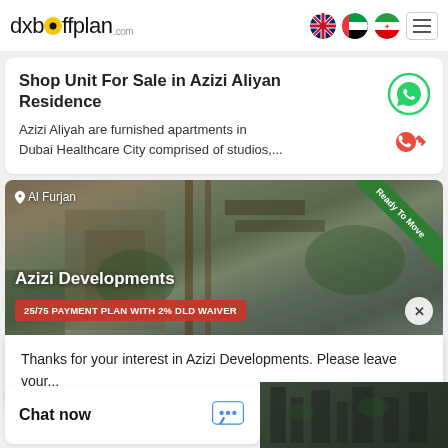dxboffplan.com
Shop Unit For Sale in Azizi Aliyan Residence
Azizi Aliyah are furnished apartments in
Dubai Healthcare City comprised of studios,...
[Figure (photo): Azizi Developments property photo at Al Furjan with Ready To Move banner and 25/75 payment plan badge]
Thanks for your interest in Azizi Developments. Please leave your...
Chat now